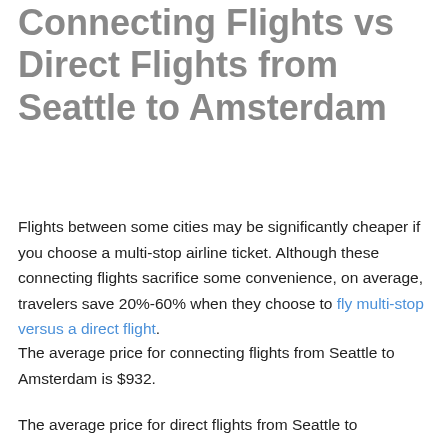Connecting Flights vs Direct Flights from Seattle to Amsterdam
Flights between some cities may be significantly cheaper if you choose a multi-stop airline ticket. Although these connecting flights sacrifice some convenience, on average, travelers save 20%-60% when they choose to fly multi-stop versus a direct flight.
The average price for connecting flights from Seattle to Amsterdam is $932.
The average price for direct flights from Seattle to Amsterdam is $1,001.